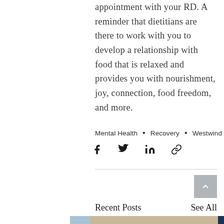appointment with your RD. A reminder that dietitians are there to work with you to develop a relationship with food that is relaxed and provides you with nourishment, joy, connection, food freedom, and more.
Mental Health • Recovery • Westwind
[Figure (infographic): Social share icons: Facebook, Twitter, LinkedIn, and a link/copy icon]
[Figure (infographic): Back to top button: grey square with upward chevron arrow]
Recent Posts
See All
[Figure (photo): Partial images of three blog post thumbnails at the bottom of the page: a light blue photo on the left edge, a center food charcuterie board photo, and a dark navy image on the right edge]